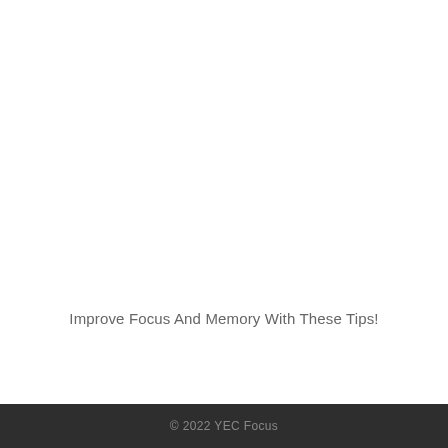Improve Focus And Memory With These Tips!
© 2022 YEC Focus